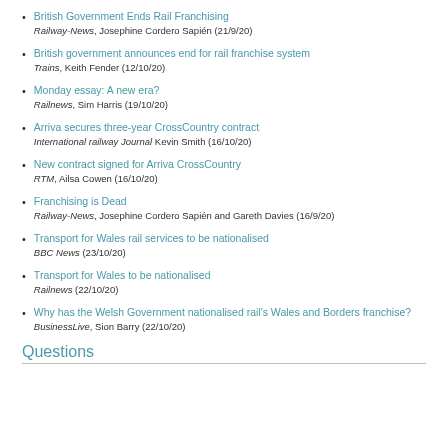British Government Ends Rail Franchising — Railway-News, Josephine Cordero Sapién (21/9/20)
British government announces end for rail franchise system — Trains, Keith Fender (12/10/20)
Monday essay: A new era? — Railnews, Sim Harris (19/10/20)
Arriva secures three-year CrossCountry contract — International railway Journal Kevin Smith (16/10/20)
New contract signed for Arriva CrossCountry — RTM, Ailsa Cowen (16/10/20)
Franchising is Dead — Railway-News, Josephine Cordero Sapién and Gareth Davies (16/9/20)
Transport for Wales rail services to be nationalised — BBC News (23/10/20)
Transport for Wales to be nationalised — Railnews (22/10/20)
Why has the Welsh Government nationalised rail's Wales and Borders franchise? — BusinessLive, Sion Barry (22/10/20)
Questions